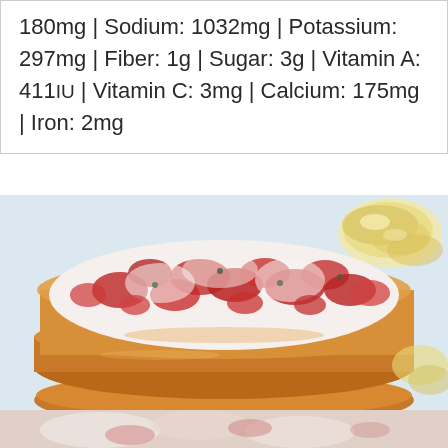180mg | Sodium: 1032mg | Potassium: 297mg | Fiber: 1g | Sugar: 3g | Vitamin A: 411IU | Vitamin C: 3mg | Calcium: 175mg | Iron: 2mg
[Figure (photo): Close-up photo of a lobster roll — a golden-brown hot dog bun filled with creamy lobster salad (chunks of red lobster meat with mayonnaise dressing and herbs), with potato chips visible in the background on the right side. A second lobster roll is partially visible below.]
[Figure (photo): Bottom partial photo showing lobster salad / seafood mixture.]